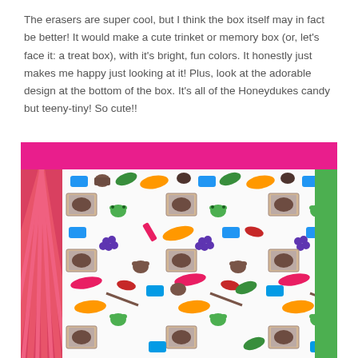The erasers are super cool, but I think the box itself may in fact be better! It would make a cute trinket or memory box (or, let's face it: a treat box), with it's bright, fun colors. It honestly just makes me happy just looking at it! Plus, look at the adorable design at the bottom of the box. It's all of the Honeydukes candy but teeny-tiny! So cute!!
[Figure (photo): Photo of the inside bottom of a colorful box with bright pink striped sides and a green right edge. The interior shows a white surface covered in a repeating pattern of tiny Honeydukes candy illustrations including frogs, chocolate frogs boxes, jelly beans, licorice wands, and other sweets in various colors.]